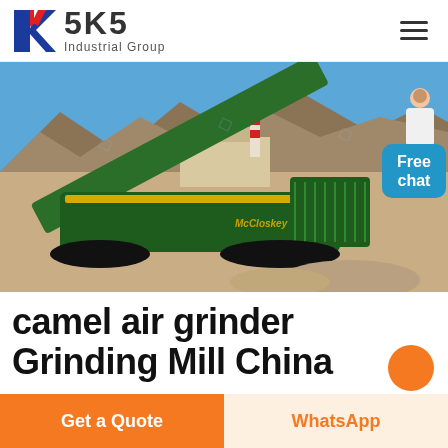[Figure (logo): SKS Industrial Group logo with red and blue K lettermark and bold SKS text]
[Figure (photo): McCloskey mobile screening/crushing machine (green) parked at a desert mining site with mountains and a building with a chimney in the background]
[Figure (other): Free chat button bubble (blue rounded rectangle) with a female customer service avatar]
camel air grinder Grinding Mill China
[Figure (other): Get a Quote orange button and WhatsApp button at the bottom of the page]